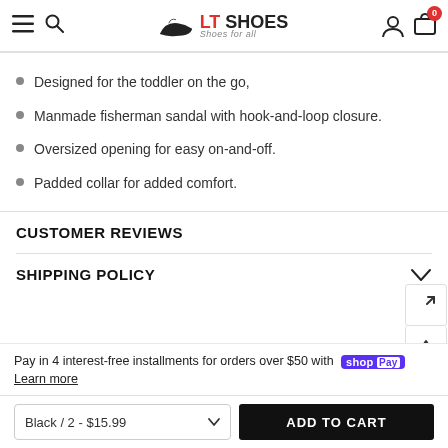LT SHOES — Shoes for all (navigation header with hamburger, search, logo, user and cart icons)
Designed for the toddler on the go,
Manmade fisherman sandal with hook-and-loop closure.
Oversized opening for easy on-and-off.
Padded collar for added comfort.
CUSTOMER REVIEWS
SHIPPING POLICY
Pay in 4 interest-free installments for orders over $50 with shop Pay
Learn more
Black / 2 - $15.99  ADD TO CART